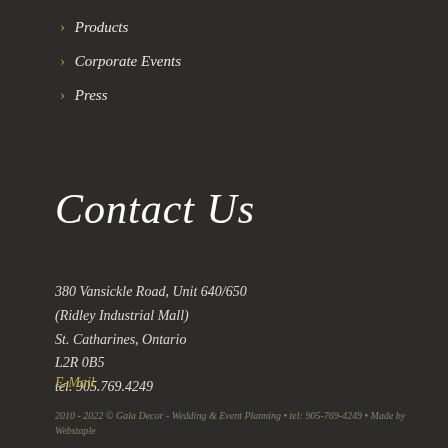> Products
> Corporate Events
> Press
Contact Us
380 Vansickle Road, Unit 640/650
(Ridley Industrial Mall)
St. Catharines, Ontario
L2R 0B5
tel. 905.769.4249
E-Mail
2010 - 2022 © Gala Decor - Wedding & Event Planning • tel: 905-769-4249 • Made by Webstaple